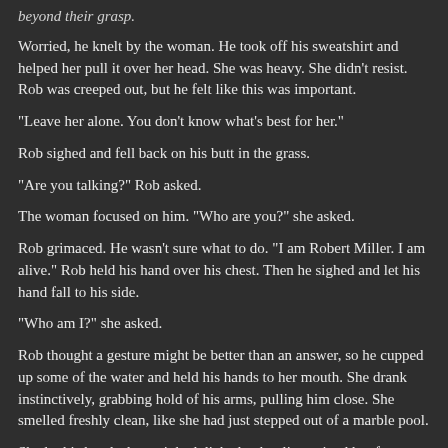beyond their grasp.
Worried, he knelt by the woman. He took off his sweatshirt and helped her pull it over her head. She was heavy. She didn't resist. Rob was creeped out, but he felt like this was important.
"Leave her alone. You don't know what's best for her."
Rob sighed and fell back on his butt in the grass.
"Are you talking?" Rob asked.
The woman focused on him. "Who are you?" she asked.
Rob grimaced. He wasn't sure what to do. "I am Robert Miller. I am alive." Rob held his hand over his chest. Then he sighed and let his hand fall to his side.
"Who am I?" she asked.
Rob thought a gesture might be better than an answer, so he cupped up some of the water and held his hands to her mouth. She drank instinctively, grabbing hold of his arms, pulling him close. She smelled freshly clean, like she had just stepped out of a marble pool.
She let his hands drop, sighed, licked at her lips, wiped her face